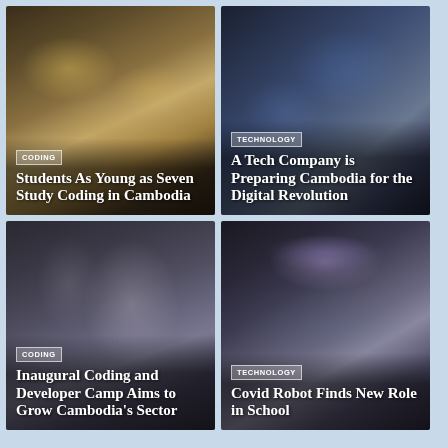[Figure (photo): Students working with electronics/coding materials on a desk, Cambodia coding class]
CODING
Students As Young as Seven Study Coding in Cambodia
[Figure (photo): Person working with electronic components and wires, technology in Cambodia]
TECHNOLOGY
A Tech Company is Preparing Cambodia for the Digital Revolution
[Figure (photo): Man wearing face mask at coding/developer camp in Cambodia]
CODING
Inaugural Coding and Developer Camp Aims to Grow Cambodia's Sector
[Figure (photo): Students interacting with Covid robots in a large hall in a school setting]
TECHNOLOGY
Covid Robot Finds New Role in School